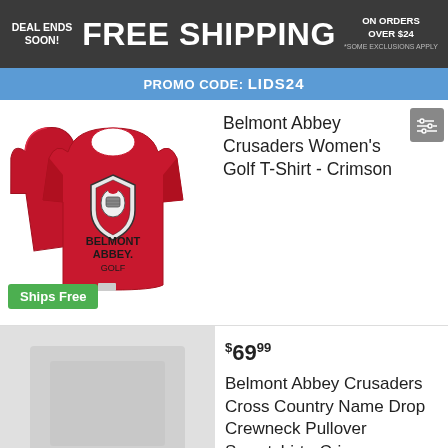DEAL ENDS SOON! | FREE SHIPPING | ON ORDERS OVER $24 *SOME EXCLUSIONS APPLY
PROMO CODE: LIDS24
[Figure (photo): Crimson Belmont Abbey Crusaders Women's Golf T-Shirt shown from two angles]
Belmont Abbey Crusaders Women's Golf T-Shirt - Crimson
Ships Free
[Figure (photo): Blurred/placeholder image for Belmont Abbey Crusaders Cross Country Name Drop Crewneck Pullover Sweatshirt]
$69.99
Belmont Abbey Crusaders Cross Country Name Drop Crewneck Pullover Sweatshirt - Crimson